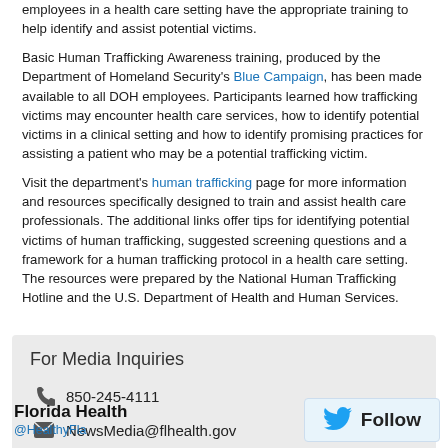employees in a health care setting have the appropriate training to help identify and assist potential victims.
Basic Human Trafficking Awareness training, produced by the Department of Homeland Security's Blue Campaign, has been made available to all DOH employees. Participants learned how trafficking victims may encounter health care services, how to identify potential victims in a clinical setting and how to identify promising practices for assisting a patient who may be a potential trafficking victim.
Visit the department's human trafficking page for more information and resources specifically designed to train and assist health care professionals. The additional links offer tips for identifying potential victims of human trafficking, suggested screening questions and a framework for a human trafficking protocol in a health care setting. The resources were prepared by the National Human Trafficking Hotline and the U.S. Department of Health and Human Services.
For Media Inquiries
850-245-4111
NewsMedia@flhealth.gov
Florida Health
@HealthyFla
[Figure (logo): Twitter Follow button with bird icon]